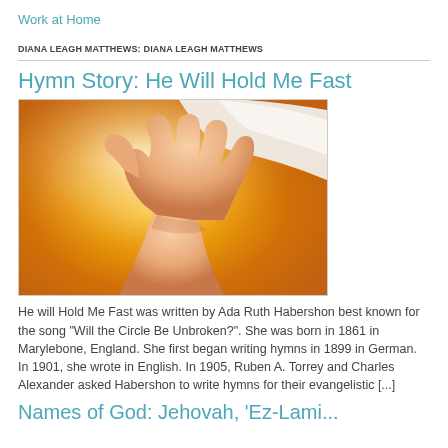Work at Home
DIANA LEAGH MATTHEWS: DIANA LEAGH MATTHEWS
Hymn Story: He Will Hold Me Fast
[Figure (photo): An outstretched hand photographed against a warm golden-yellow glowing background, with white fabric visible at the top, suggesting a welcoming or divine gesture.]
He will Hold Me Fast was written by Ada Ruth Habershon best known for the song "Will the Circle Be Unbroken?". She was born in 1861 in Marylebone, England. She first began writing hymns in 1899 in German. In 1901, she wrote in English. In 1905, Ruben A. Torrey and Charles Alexander asked Habershon to write hymns for their evangelistic [...]
Names of God: Jehovah, 'Ez-Lami...